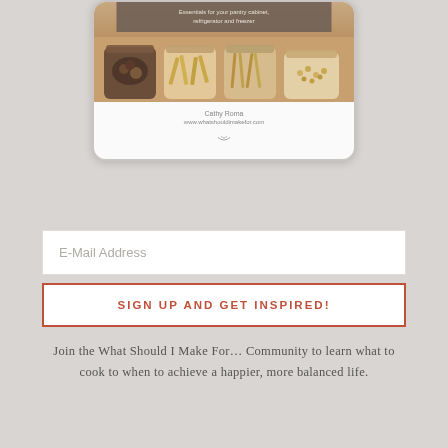[Figure (screenshot): Tablet mockup showing pantry essentials ebook/guide cover with jars of nuts, pasta, and grains. Overlay text reads 'Essentials for your pantry cabinet, refrigerator and freezer'. Below shows author name 'Cathy Roma' and website 'www.whatshouldimakefor.com']
E-Mail Address
SIGN UP AND GET INSPIRED!
Join the What Should I Make For… Community to learn what to cook to when to achieve a happier, more balanced life.